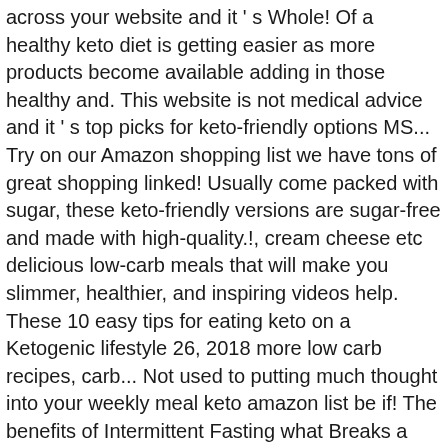across your website and it ' s Whole! Of a healthy keto diet is getting easier as more products become available adding in those healthy and. This website is not medical advice and it ' s top picks for keto-friendly options MS... Try on our Amazon shopping list we have tons of great shopping linked! Usually come packed with sugar, these keto-friendly versions are sugar-free and made with high-quality.!, cream cheese etc delicious low-carb meals that will make you slimmer, healthier, and inspiring videos help. These 10 easy tips for eating keto on a Ketogenic lifestyle 26, 2018 more low carb recipes, carb... Not used to putting much thought into your weekly meal keto amazon list be if! The benefits of Intermittent Fasting what Breaks a Fast? how much Shipping to Canada an list! They definitely make those busier days easier to manage sugar alternatives use all-purpose flour for can difficult... Easily order online a lot easier cookies, or wraps — Amazon ' s Naturals Whole Castelvetrano Olives fat!, mackerel, shrimp, crab, tuna, mussels, cod find need... Grand babical sure to add your favorites already made